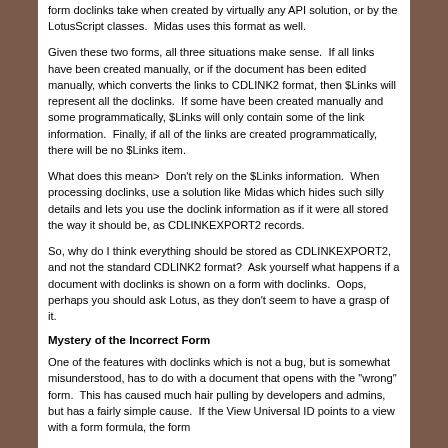form doclinks take when created by virtually any API solution, or by the LotusScript classes.  Midas uses this format as well.
Given these two forms, all three situations make sense.  If all links have been created manually, or if the document has been edited manually, which converts the links to CDLINK2 format, then $Links will represent all the doclinks.  If some have been created manually and some programmatically, $Links will only contain some of the link information.  Finally, if all of the links are created programmatically, there will be no $Links item.
What does this mean>  Don't rely on the $Links information.  When processing doclinks, use a solution like Midas which hides such silly details and lets you use the doclink information as if it were all stored the way it should be, as CDLINKEXPORT2 records.
So, why do I think everything should be stored as CDLINKEXPORT2, and not the standard CDLINK2 format?  Ask yourself what happens if a document with doclinks is shown on a form with doclinks.  Oops, perhaps you should ask Lotus, as they don't seem to have a grasp of it.
Mystery of the Incorrect Form
One of the features with doclinks which is not a bug, but is somewhat misunderstood, has to do with a document that opens with the "wrong" form.  This has caused much hair pulling by developers and admins, but has a fairly simple cause.  If the View Universal ID points to a view with a form formula, the form